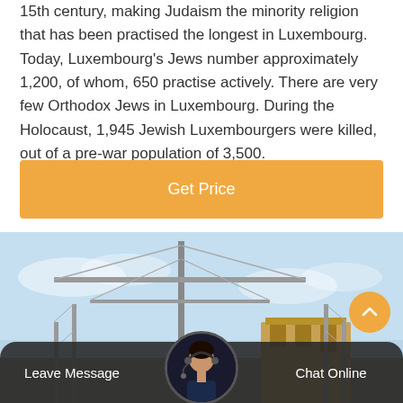15th century, making Judaism the minority religion that has been practised the longest in Luxembourg. Today, Luxembourg's Jews number approximately 1,200, of whom, 650 practise actively. There are very few Orthodox Jews in Luxembourg. During the Holocaust, 1,945 Jewish Luxembourgers were killed, out of a pre-war population of 3,500.
Get Price
[Figure (photo): Photograph of a large radio transmission tower or antenna mast against a light blue sky, with a building structure visible at the base.]
Leave Message   Chat Online